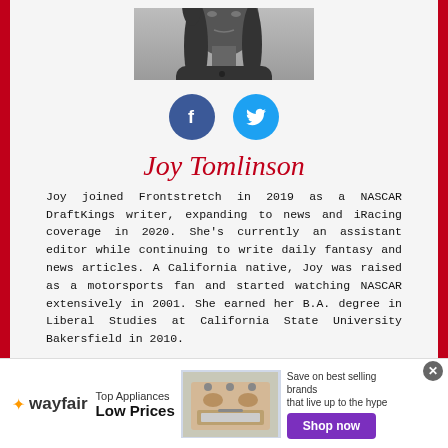[Figure (photo): Black and white headshot photo of Joy Tomlinson, a woman with long dark hair wearing a dark top]
[Figure (infographic): Facebook and Twitter social media icon circles — blue Facebook 'f' icon and light blue Twitter bird icon]
Joy Tomlinson
Joy joined Frontstretch in 2019 as a NASCAR DraftKings writer, expanding to news and iRacing coverage in 2020. She's currently an assistant editor while continuing to write daily fantasy and news articles. A California native, Joy was raised as a motorsports fan and started watching NASCAR extensively in 2001. She earned her B.A. degree in Liberal Studies at California State University Bakersfield in 2010.
[Figure (infographic): Wayfair advertisement banner: 'Top Appliances Low Prices', image of a stove/range appliance, 'Save on best selling brands that live up to the hype', purple 'Shop now' button]